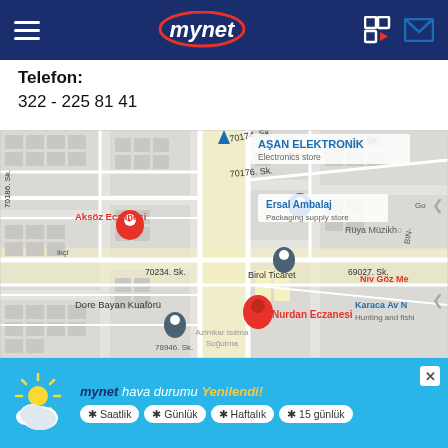mynet header with hamburger menu, logo, and icons
Telefon:
322 - 225 81 41
[Figure (map): Google Maps screenshot showing street map with markers including Aksöz Eczanesi, AŞAN ELEKTRONİK (Electronics store), Ersal Ambalaj (Packaging supply store), Birol Ticaret, Nurdan Eczanesi, Dore Bayan Kuaförü, Rüya Müzikhane, Niv Göz Me, Karaca Av (Hunting and fishing), street labels 70174 Sk., 70176 Sk., 70186 Sk., 69035 Sk., 69027 Sk., 70234 Sk., and others]
[Figure (infographic): mynet hava durumu Yenilendi! advertisement banner with weather icon and buttons: Saatlik, Günlük, Haftalık, 15 günlük]